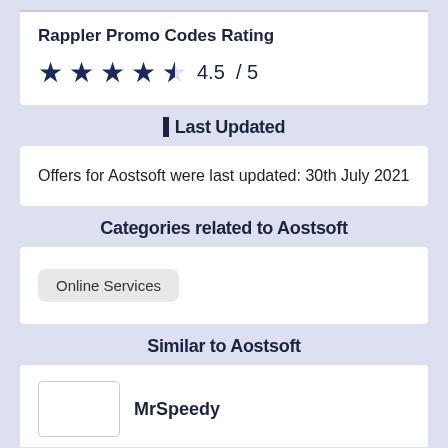Rappler Promo Codes Rating
4.5 / 5
Last Updated
Offers for Aostsoft were last updated: 30th July 2021
Categories related to Aostsoft
Online Services
Similar to Aostsoft
MrSpeedy